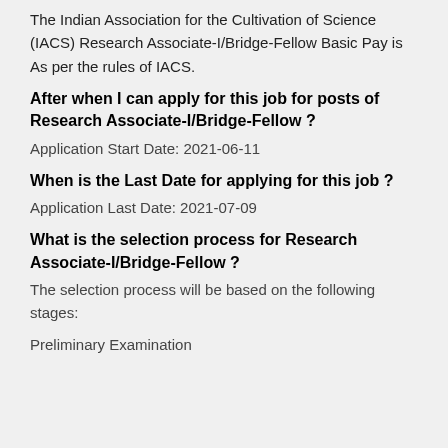The Indian Association for the Cultivation of Science (IACS) Research Associate-I/Bridge-Fellow Basic Pay is As per the rules of IACS.
After when I can apply for this job for posts of Research Associate-I/Bridge-Fellow ?
Application Start Date: 2021-06-11
When is the Last Date for applying for this job ?
Application Last Date: 2021-07-09
What is the selection process for Research Associate-I/Bridge-Fellow ?
The selection process will be based on the following stages:
Preliminary Examination